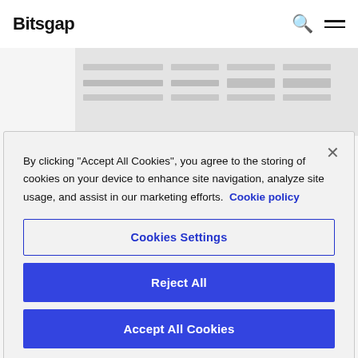Bitsgap
[Figure (screenshot): Screenshot of Bitsgap platform interface showing trading table/orders]
Bitsgap offers clean and simple tool to connect two orders with OCO conditional
By clicking "Accept All Cookies", you agree to the storing of cookies on your device to enhance site navigation, analyze site usage, and assist in our marketing efforts.  Cookie policy
Cookies Settings
Reject All
Accept All Cookies